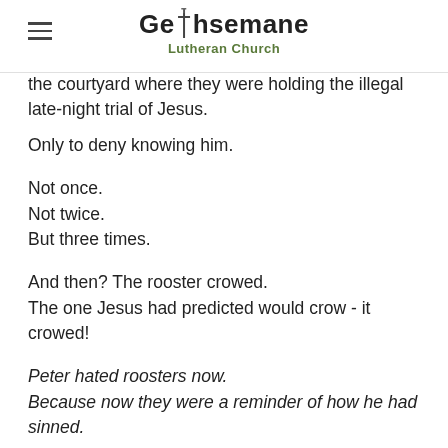Gethsemane Lutheran Church
the courtyard where they were holding the illegal late-night trial of Jesus.
Only to deny knowing him.
Not once.
Not twice.
But three times.
And then? The rooster crowed.
The one Jesus had predicted would crow - it crowed!
Peter hated roosters now.
Because now they were a reminder of how he had sinned.